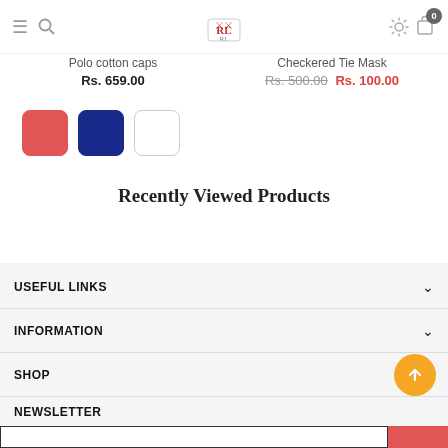[Figure (screenshot): Website navigation bar with hamburger menu, search icon, brand logo in center, gear/settings icon, and shopping cart with badge showing 0]
Polo cotton caps
Rs. 659.00
Checkered Tie Mask
Rs. 500.00  Rs. 100.00
[Figure (other): Three color swatches: red, navy blue, and white]
Recently Viewed Products
USEFUL LINKS
INFORMATION
SHOP
NEWSLETTER